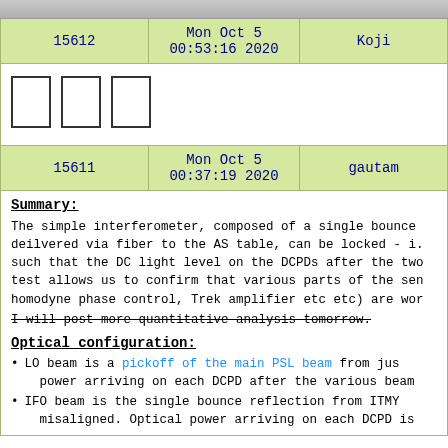[Figure (photo): Top partial image strip, appears to be a photo cropped at top of page]
| 15612 | Mon Oct 5 00:53:16 2020 | Koji |
| --- | --- | --- |
[Figure (other): Three empty icon boxes representing attachment icons]
| 15611 | Mon Oct 5 00:37:19 2020 | gautam |
| --- | --- | --- |
Summary:
The simple interferometer, composed of a single bounce deilvered via fiber to the AS table, can be locked - i. such that the DC light level on the DCPDs after the two test allows us to confirm that various parts of the sen homodyne phase control, Trek amplifier etc etc) are wor
I will post more quantitative analysis tomorrow.
Optical configuration:
LO beam is a pickoff of the main PSL beam from jus power arriving on each DCPD after the various beam
IFO beam is the single bounce reflection from ITMY misaligned. Optical power arriving on each DCPD is